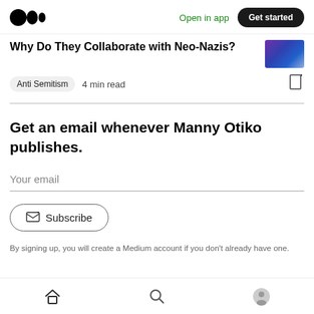Medium – Open in app | Get started
Why Do They Collaborate with Neo-Nazis?
Anti Semitism  4 min read
Get an email whenever Manny Otiko publishes.
Your email
Subscribe
By signing up, you will create a Medium account if you don't already have one.
Home | Search | Profile